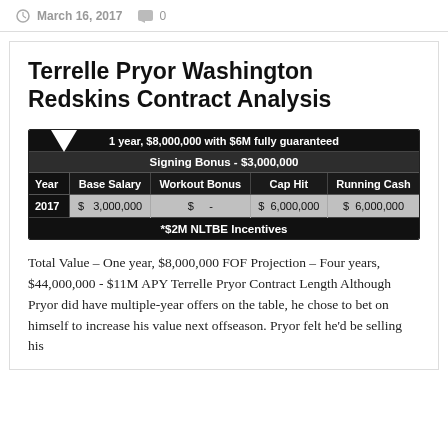March 16, 2017   0
Terrelle Pryor Washington Redskins Contract Analysis
| Year | Base Salary | Workout Bonus | Cap Hit | Running Cash |
| --- | --- | --- | --- | --- |
| 2017 | $ 3,000,000 | $ - | $ 6,000,000 | $ 6,000,000 |
Total Value – One year, $8,000,000 FOF Projection – Four years, $44,000,000 - $11M APY Terrelle Pryor Contract Length Although Pryor did have multiple-year offers on the table, he chose to bet on himself to increase his value next offseason. Pryor felt he'd be selling his